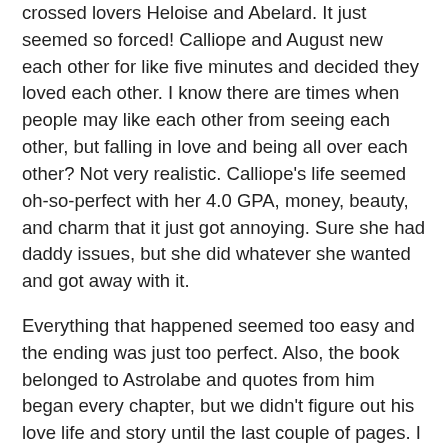crossed lovers Heloise and Abelard. It just seemed so forced! Calliope and August new each other for like five minutes and decided they loved each other. I know there are times when people may like each other from seeing each other, but falling in love and being all over each other? Not very realistic. Calliope's life seemed oh-so-perfect with her 4.0 GPA, money, beauty, and charm that it just got annoying. Sure she had daddy issues, but she did whatever she wanted and got away with it.
Everything that happened seemed too easy and the ending was just too perfect. Also, the book belonged to Astrolabe and quotes from him began every chapter, but we didn't figure out his love life and story until the last couple of pages. I thought the quotes had nothing to do with the story until then, so they just annoyed me at the beginning of each chapter. This was supposed to be a "great love story" like Romeo and Juliet, but this was no where near that romance.
Illuminated held so much potential, but it just fell flat. The author seemed to take the easy, cliched way out instead of really making something original and romantic. If you still feel like reading this, you should definitely wait to get it from the